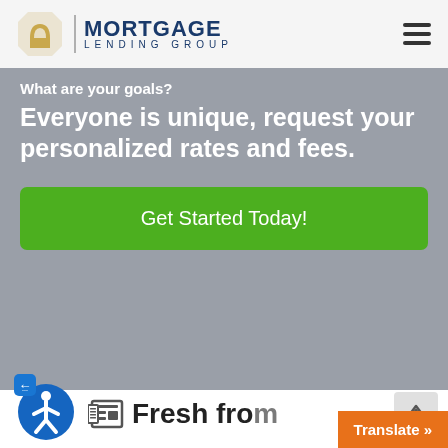MORTGAGE LENDING GROUP
What are your goals? Everyone is unique, request your personalized rates and fees.
Get Started Today!
Fresh fro
Translate »